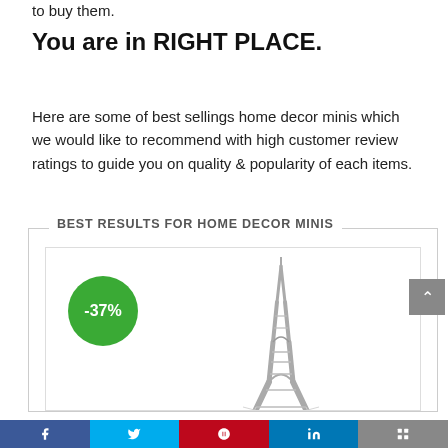to buy them.
You are in RIGHT PLACE.
Here are some of best sellings home decor minis which we would like to recommend with high customer review ratings to guide you on quality & popularity of each items.
[Figure (other): Box section labeled 'BEST RESULTS FOR HOME DECOR MINIS' containing a product card with a -37% green discount badge and an Eiffel Tower miniature figurine image]
Social share bar with Facebook, Twitter, Pinterest, LinkedIn, and other icons